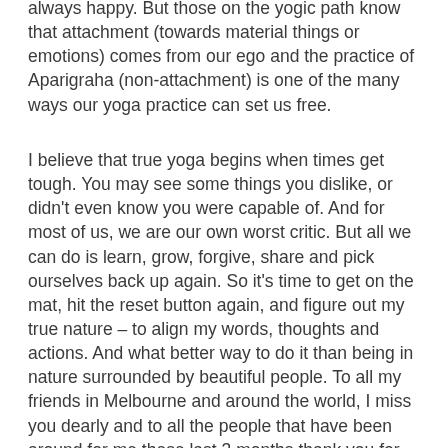always happy. But those on the yogic path know that attachment (towards material things or emotions) comes from our ego and the practice of Aparigraha (non-attachment) is one of the many ways our yoga practice can set us free.
I believe that true yoga begins when times get tough. You may see some things you dislike, or didn't even know you were capable of. And for most of us, we are our own worst critic. But all we can do is learn, grow, forgive, share and pick ourselves back up again. So it's time to get on the mat, hit the reset button again, and figure out my true nature – to align my words, thoughts and actions. And what better way to do it than being in nature surrounded by beautiful people. To all my friends in Melbourne and around the world, I miss you dearly and to all the people that have been around for me these last 3 months thank you for sticking by me.